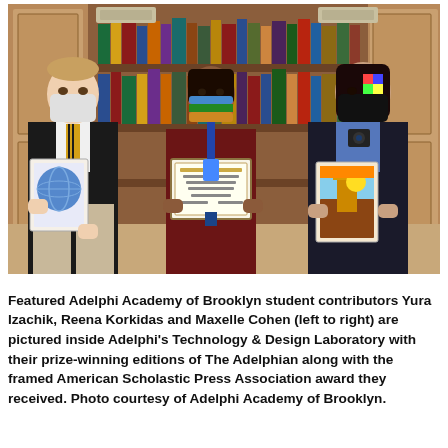[Figure (photo): Three students wearing face masks standing in front of a bookshelf. Left student (male) holds a magazine with a globe-themed cover. Center student (female) holds a framed American Scholastic Press Association award certificate. Right student (female) holds a colorful magazine. They are inside Adelphi's Technology & Design Laboratory.]
Featured Adelphi Academy of Brooklyn student contributors Yura Izachik, Reena Korkidas and Maxelle Cohen (left to right) are pictured inside Adelphi's Technology & Design Laboratory with their prize-winning editions of The Adelphian along with the framed American Scholastic Press Association award they received. Photo courtesy of Adelphi Academy of Brooklyn.